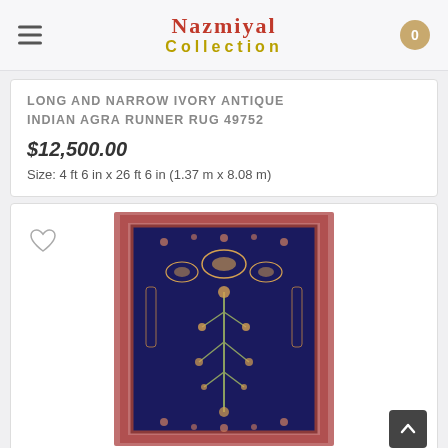Nazmiyal Collection
LONG AND NARROW IVORY ANTIQUE INDIAN AGRA RUNNER RUG 49752
$12,500.00
Size: 4 ft 6 in x 26 ft 6 in (1.37 m x 8.08 m)
[Figure (photo): Antique Indian Agra runner rug with dark blue/navy field featuring ornate floral and botanical motifs with a red/pink decorative border]